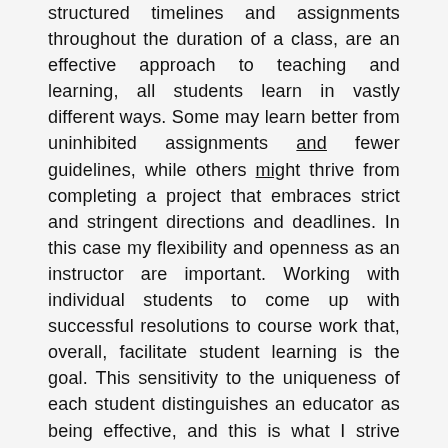structured timelines and assignments throughout the duration of a class, are an effective approach to teaching and learning, all students learn in vastly different ways. Some may learn better from uninhibited assignments and fewer guidelines, while others might thrive from completing a project that embraces strict and stringent directions and deadlines. In this case my flexibility and openness as an instructor are important. Working with individual students to come up with successful resolutions to course work that, overall, facilitate student learning is the goal. This sensitivity to the uniqueness of each student distinguishes an educator as being effective, and this is what I strive towards as an instructor.
Learning that happens outside of the classroom is a vital experience for